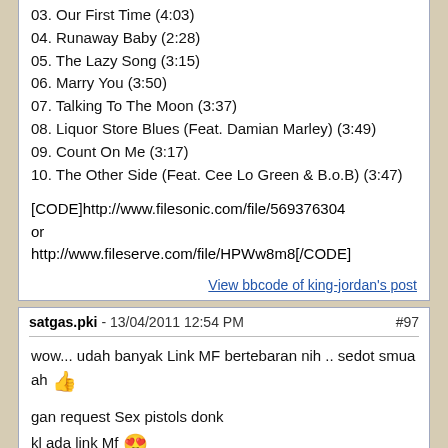03. Our First Time (4:03)
04. Runaway Baby (2:28)
05. The Lazy Song (3:15)
06. Marry You (3:50)
07. Talking To The Moon (3:37)
08. Liquor Store Blues (Feat. Damian Marley) (3:49)
09. Count On Me (3:17)
10. The Other Side (Feat. Cee Lo Green & B.o.B) (3:47)
[CODE]http://www.filesonic.com/file/569376304
or
http://www.fileserve.com/file/HPWw8m8[/CODE]
View bbcode of king-jordan's post
satgas.pki - 13/04/2011 12:54 PM  #97
wow... udah banyak Link MF bertebaran nih .. sedot smua ah 👍
gan request Sex pistols donk
kl ada link Mf 😍
kl ga ada gpp link laen jg 🤔
View bbcode of satgas.pki's post
2nd.heartbeat - 13/04/2011 01:45 PM  #98